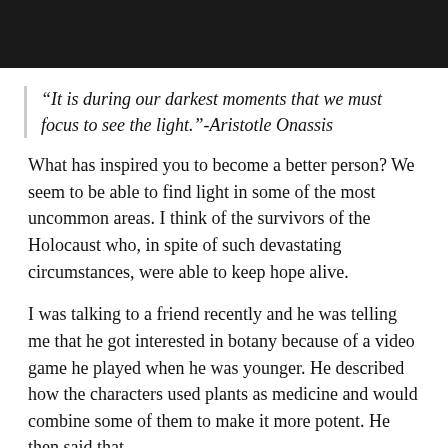[Figure (photo): Dark photograph at top of page, appears to show a dimly lit scene]
“It is during our darkest moments that we must focus to see the light.”-Aristotle Onassis
What has inspired you to become a better person? We seem to be able to find light in some of the most uncommon areas. I think of the survivors of the Holocaust who, in spite of such devastating circumstances, were able to keep hope alive.
I was talking to a friend recently and he was telling me that he got interested in botany because of a video game he played when he was younger. He described how the characters used plants as medicine and would combine some of them to make it more potent. He then said that